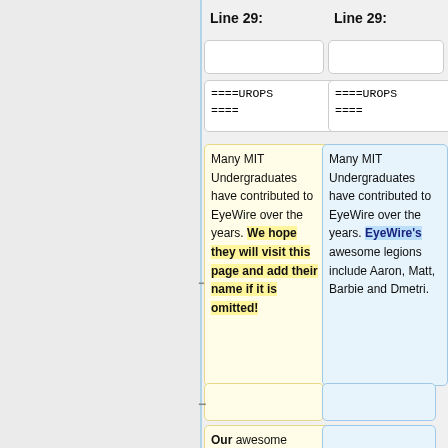Line 29: (left column)
Line 29: (right column)
(empty cell left)
(empty cell right)
====UROPS ====
====UROPS ====
Many MIT Undergraduates have contributed to EyeWire over the years. We hope they will visit this page and add their name if it is omitted!
Many MIT Undergraduates have contributed to EyeWire over the years. EyeWire's awesome legions include Aaron, Matt, Barbie and Dmetri.
(empty cell left)
(empty cell right)
Our awesome legions include Aaron, Matt, Barbie and